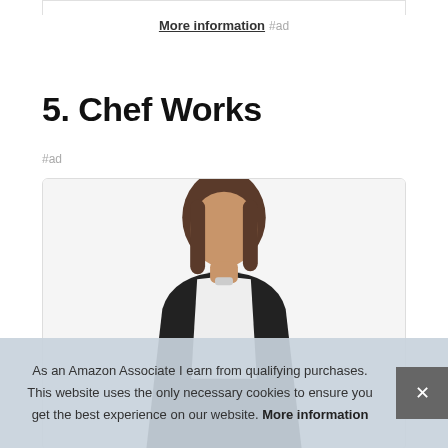More information #ad
5. Chef Works
#ad
[Figure (photo): Product card showing a woman wearing a chef apron, partially visible, inside a rounded-corner card border.]
As an Amazon Associate I earn from qualifying purchases. This website uses the only necessary cookies to ensure you get the best experience on our website. More information